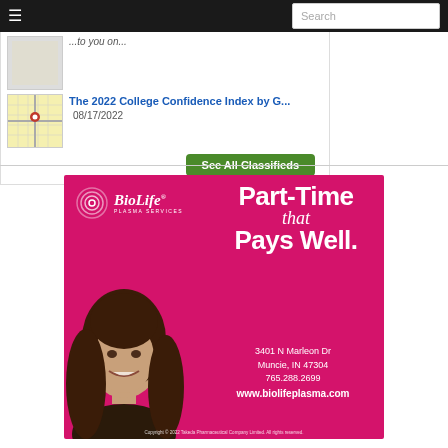☰  Search
[Figure (screenshot): Classified listing thumbnail - map image thumbnail]
...to you on...
The 2022 College Confidence Index by G...  08/17/2022
See All Classifieds
[Figure (illustration): BioLife Plasma Services advertisement on pink/magenta background. Features BioLife logo with swirl mark, tagline 'PART-TIME that PAYS WELL.', photo of smiling young woman with long brown hair, address: 3401 N Marleon Dr, Muncie, IN 47304, 765.288.2699, www.biolifeplasma.com. Copyright 2022 Takeda Pharmaceutical Company Limited. All rights reserved.]